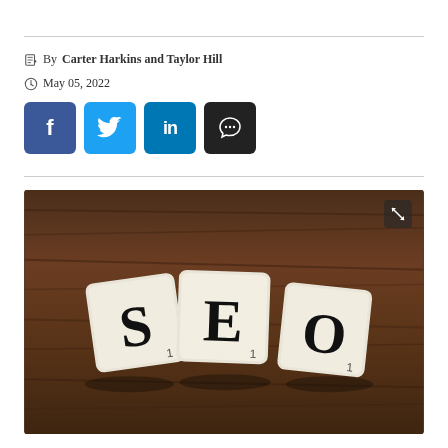By Carter Harkins and Taylor Hill
May 05, 2022
[Figure (infographic): Social share buttons: Facebook (blue), Twitter (light blue), LinkedIn (dark blue), Comment (black)]
[Figure (photo): Three Scrabble tiles spelling SEO on a wooden surface]